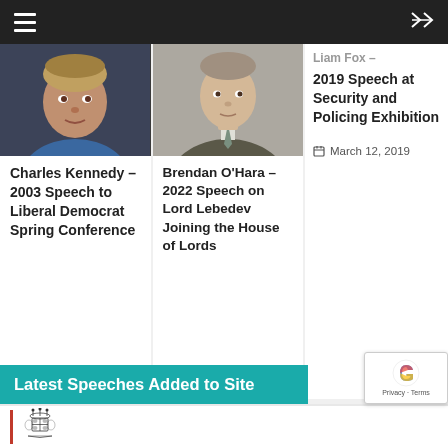Navigation bar with hamburger menu and shuffle icon
[Figure (photo): Portrait photo of Charles Kennedy in a blue shirt]
Charles Kennedy – 2003 Speech to Liberal Democrat Spring Conference
June 12, 2022
[Figure (photo): Portrait photo of Brendan O'Hara in a suit with tie]
Brendan O'Hara – 2022 Speech on Lord Lebedev Joining the House of Lords
March 30, 2022
Liam Fox – 2019 Speech at Security and Policing Exhibition
March 12, 2019
Latest Speeches Added to Site
[Figure (logo): Royal Coat of Arms crest logo]